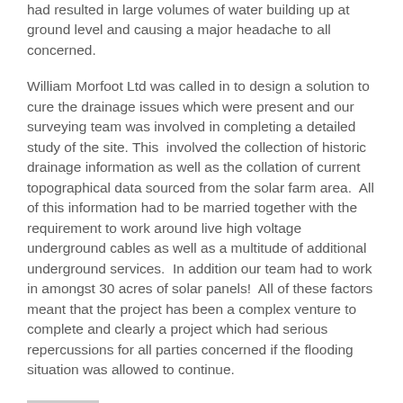had resulted in large volumes of water building up at ground level and causing a major headache to all concerned.
William Morfoot Ltd was called in to design a solution to cure the drainage issues which were present and our surveying team was involved in completing a detailed study of the site. This  involved the collection of historic drainage information as well as the collation of current topographical data sourced from the solar farm area.  All of this information had to be married together with the requirement to work around live high voltage underground cables as well as a multitude of additional underground services.  In addition our team had to work in amongst 30 acres of solar panels!  All of these factors meant that the project has been a complex venture to complete and clearly a project which had serious repercussions for all parties concerned if the flooding situation was allowed to continue.